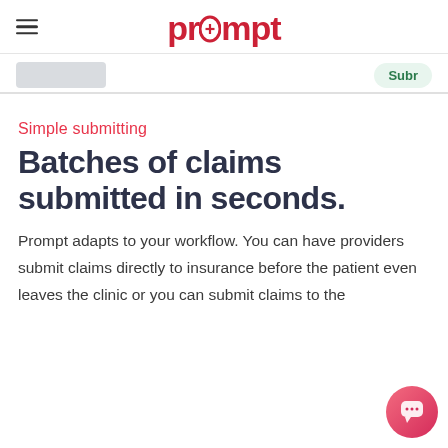prompt (logo)
[Figure (screenshot): UI toolbar with a gray block element and a green 'Subr' (Submit) button partially visible on the right]
Simple submitting
Batches of claims submitted in seconds.
Prompt adapts to your workflow. You can have providers submit claims directly to insurance before the patient even leaves the clinic or you can submit claims to the